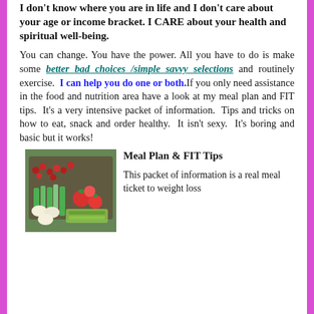I don't know where you are in life and I don't care about your age or income bracket.  I CARE about your health and spiritual well-being.
You can change.  You have the power.  All you have to do is make some better bad choices /simple savvy selections and routinely exercise.  I can help you do one or both. If you only need assistance in the food and nutrition area have a look at my meal plan and FIT tips.  It's a very intensive packet of information.  Tips and tricks on how to eat, snack and order healthy.  It isn't sexy.  It's boring and basic but it works!
[Figure (photo): A container of fresh vegetables including celery, tomatoes, cranberries, and eggs]
Meal Plan & FIT Tips
This packet of information is a real meal ticket to weight loss